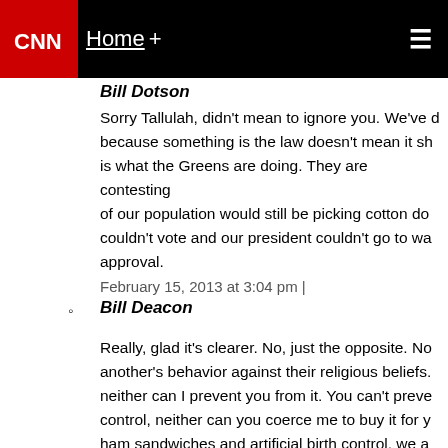CNN | Home +
Bill Dotson
Sorry Tallulah, didn't mean to ignore you. We've discussed that just because something is the law doesn't mean it should be – this is what the Greens are doing. They are contesting a law. % of our population would still be picking cotton down south, couldn't vote and our president couldn't go to war without congressional approval.
February 15, 2013 at 3:04 pm |
Bill Deacon
Really, glad it's clearer. No, just the opposite. No one can force another's behavior against their religious beliefs. I can eat ham, neither can I prevent you from it. You can't prevent me from birth control, neither can you coerce me to buy it for you. If we all eat ham sandwiches and artificial birth control, we are only responsible for ourselves.
Under the law – show me the which religious doc... Answer, you can't. Because while religious peop...